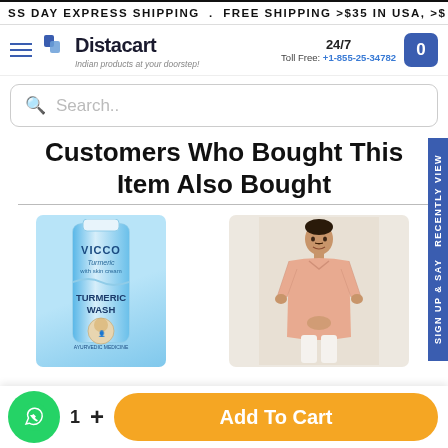SS DAY EXPRESS SHIPPING . FREE SHIPPING >$35 IN USA, >$
[Figure (logo): Distacart logo with tagline 'Indian products at your doorstep!']
24/7 Toll Free: +1-855-25-34782
Search..
Customers Who Bought This Item Also Bought
[Figure (photo): Vicco Turmeric Wash face wash product tube in blue packaging]
[Figure (photo): Man wearing peach/salmon colored kurta with white pants]
1 + Add To Cart